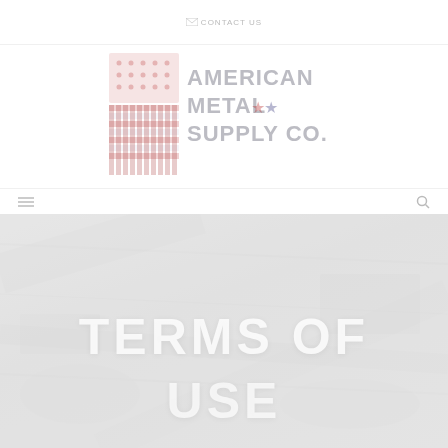Contact Us
[Figure (logo): American Metal Supply Co. logo with stylized American flag graphic on the left and company name text on the right]
[Figure (screenshot): Navigation bar with hamburger menu icon on the left and search icon on the right]
[Figure (photo): Hero banner background image showing industrial/metal supply setting, very faded/washed out]
TERMS OF USE